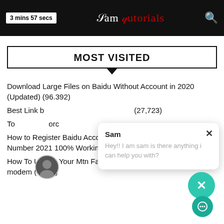3 mins 57 secs | Sam Tutorials
MOST VISITED
Download Large Files on Baidu Without Account in 2020 (Updated) (96,392)
Best Link b... (27,723)
To...orc... ...4)
How to Register Baidu Account Without Chineese Phone Number 2021 100% Working (18,721)
How To Unlock Your Mtn Fastlink, Glo, Etisalat and Airtel 3G modem (4,342)
[Figure (other): Chat popup widget with avatar, name Sam, message 'Hey!! I am sam is there anything i can help you with?', close button X, and teal action buttons]